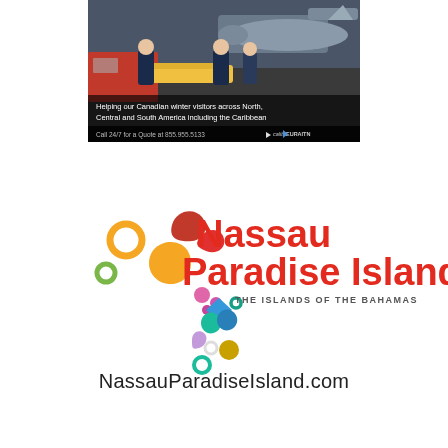[Figure (photo): Medical air transport advertisement showing paramedics loading a patient onto a private jet. Text reads: 'Helping our Canadian winter visitors across North, Central and South America including the Caribbean. Call 24/7 for a Quote at 855.955.5133' with airline logos (Calitis and Euraitn/Eurartn).]
[Figure (logo): Nassau Paradise Island - The Islands of the Bahamas logo with colorful geometric shapes (circles, teardrops, diamonds in orange, red, yellow, green, blue, teal, purple, pink) and the text 'Nassau Paradise Island' in red and 'THE ISLANDS OF THE BAHAMAS' in grey. Below is the URL: NassauParadiseIsland.com]
NassauParadiseIsland.com